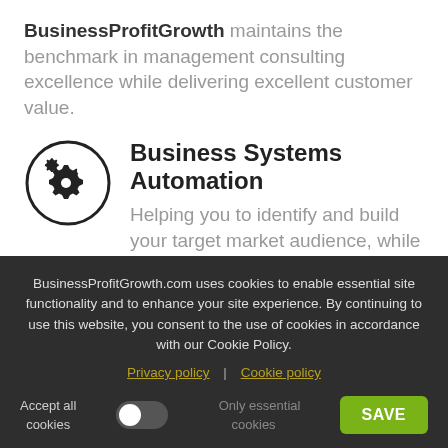BusinessProfitGrowth maintains the benchmark in management consulting excellence while delivering excellent customer value.
Business Systems Automation
Helping you to identify and build your target market audience, while setting
BusinessProfitGrowth.com uses cookies to enable essential site functionality and to enhance your site experience. By continuing to use this website, you consent to the use of cookies in accordance with our Cookie Policy.
Privacy policy | Cookie policy
Accept all cookies | Only essential cookies | SAVE